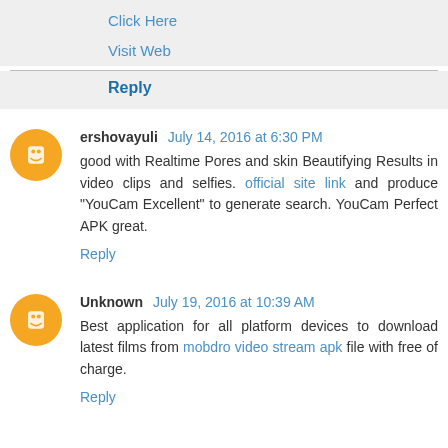Click Here
Visit Web
Reply
ershovayuli  July 14, 2016 at 6:30 PM
good with Realtime Pores and skin Beautifying Results in video clips and selfies. official site link and produce "YouCam Excellent" to generate search. YouCam Perfect APK great.
Reply
Unknown  July 19, 2016 at 10:39 AM
Best application for all platform devices to download latest films from mobdro video stream apk file with free of charge.
Reply